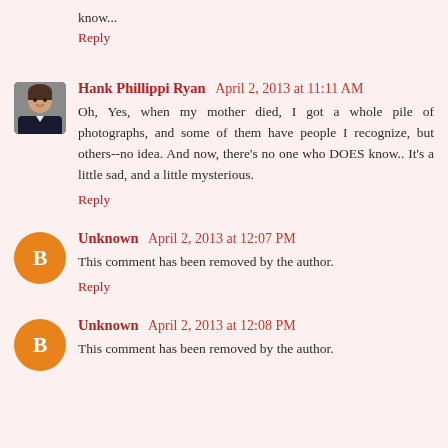know...
Reply
Hank Phillippi Ryan April 2, 2013 at 11:11 AM
Oh, Yes, when my mother died, I got a whole pile of photographs, and some of them have people I recognize, but others--no idea. And now, there's no one who DOES know.. It's a little sad, and a little mysterious.
Reply
Unknown April 2, 2013 at 12:07 PM
This comment has been removed by the author.
Reply
Unknown April 2, 2013 at 12:08 PM
This comment has been removed by the author.